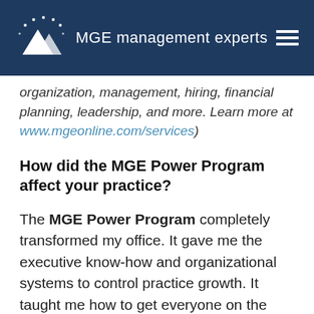MGE management experts
organization, management, hiring, financial planning, leadership, and more. Learn more at www.mgeonline.com/services)
How did the MGE Power Program affect your practice?
The MGE Power Program completely transformed my office. It gave me the executive know-how and organizational systems to control practice growth. It taught me how to get everyone on the same page